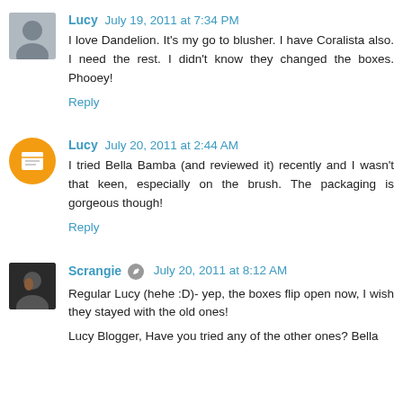Lucy  July 19, 2011 at 7:34 PM
I love Dandelion. It's my go to blusher. I have Coralista also. I need the rest. I didn't know they changed the boxes. Phooey!
Reply
Lucy  July 20, 2011 at 2:44 AM
I tried Bella Bamba (and reviewed it) recently and I wasn't that keen, especially on the brush. The packaging is gorgeous though!
Reply
Scrangie  July 20, 2011 at 8:12 AM
Regular Lucy (hehe :D)- yep, the boxes flip open now, I wish they stayed with the old ones!
Lucy Blogger, Have you tried any of the other ones? Bella